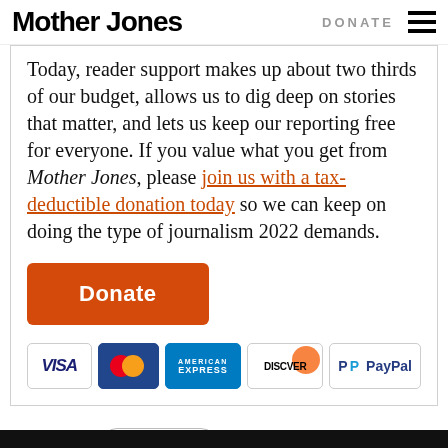Mother Jones | DONATE
Today, reader support makes up about two thirds of our budget, allows us to dig deep on stories that matter, and lets us keep our reporting free for everyone. If you value what you get from Mother Jones, please join us with a tax-deductible donation today so we can keep on doing the type of journalism 2022 demands.
[Figure (other): Orange Donate button with payment icons: Visa, MasterCard, American Express, Discover, PayPal]
More about: Puerto Rico